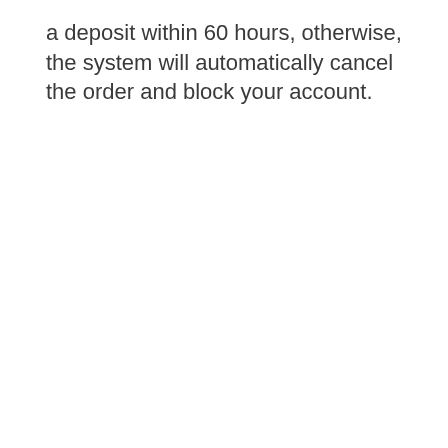a deposit within 60 hours, otherwise, the system will automatically cancel the order and block your account.